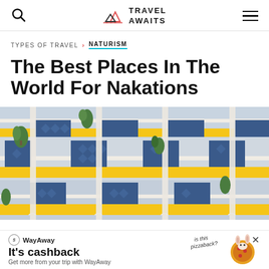Travel Awaits
TYPES OF TRAVEL > NATURISM
The Best Places In The World For Nakations
[Figure (photo): Exterior facade of a multi-story building with yellow and white balconies featuring decorative lattice railings and potted tropical plants, photographed from below against a blue sky/wall background.]
WayAway It's cashback Get more from your trip with WayAway